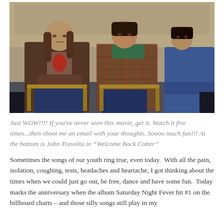[Figure (photo): Photo of actors seated in school desks in a classroom setting, apparently a scene from the TV show 'Welcome Back Kotter'. Three people are visible seated in wooden school desks with attached writing surfaces. The person on the left has long hair and wears a brown jacket with a graphic tee. The person in the middle wears a plaid shirt with a green scarf/turtleneck. A third person is partially visible on the right in a blue outfit.]
Just WOW!!!! If you've never seen this movie, get it. Watch it five times...then shoot me an email with your thoughts. Soooo much fun!!! At the bottom is John Travolta in “Welcome Back Cotter”
Sometimes the songs of our youth ring true, even today.  With all the pain, isolation, coughing, tests, headaches and heartache, I got thinking about the times when we could just go out, be free, dance and have some fun.  Today marks the anniversary when the album Saturday Night Fever hit #1 on the billboard charts – and those silly songs still play in my